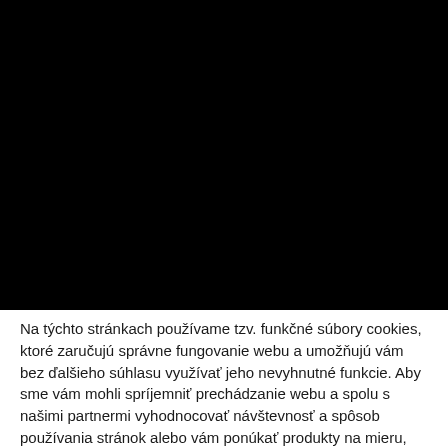[Figure (photo): Large black rectangular area occupying the top portion of the page]
Na týchto stránkach používame tzv. funkčné súbory cookies, ktoré zaručujú správne fungovanie webu a umožňujú vám bez ďalšieho súhlasu využívať jeho nevyhnutné funkcie. Aby sme vám mohli spríjemniť prechádzanie webu a spolu s našimi partnermi vyhodnocovať návštevnosť a spôsob používania stránok alebo vám ponúkať produkty na mieru, potrebujeme váš